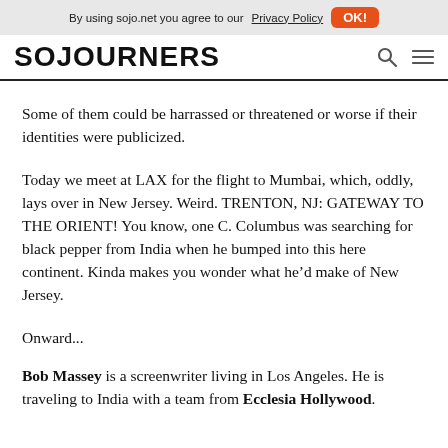By using sojo.net you agree to our Privacy Policy  OK!
[Figure (logo): SOJOURNERS logo in bold uppercase black text with search and menu icons]
Some of them could be harrassed or threatened or worse if their identities were publicized.
Today we meet at LAX for the flight to Mumbai, which, oddly, lays over in New Jersey. Weird. TRENTON, NJ: GATEWAY TO THE ORIENT! You know, one C. Columbus was searching for black pepper from India when he bumped into this here continent. Kinda makes you wonder what he’d make of New Jersey.
Onward...
Bob Massey is a screenwriter living in Los Angeles. He is traveling to India with a team from Ecclesia Hollywood.